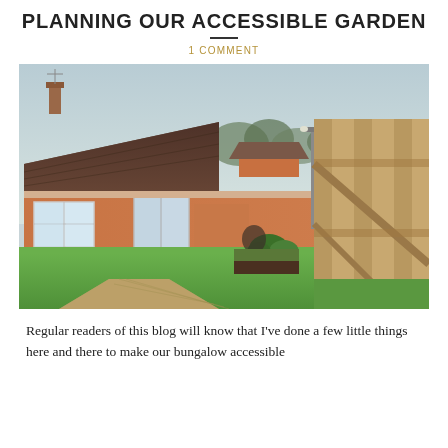PLANNING OUR ACCESSIBLE GARDEN
1 COMMENT
[Figure (photo): Exterior photograph of a single-storey brick bungalow with brown tiled roof, white-framed windows, a paved path leading to the entrance, a large green lawn, garden plants, and a wooden fence in the foreground on the right side.]
Regular readers of this blog will know that I've done a few little things here and there to make our bungalow accessible